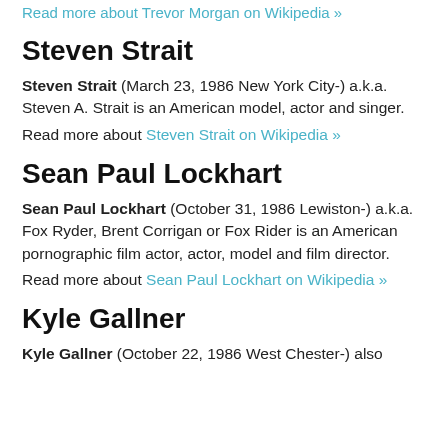Read more about Trevor Morgan on Wikipedia »
Steven Strait
Steven Strait (March 23, 1986 New York City-) a.k.a. Steven A. Strait is an American model, actor and singer.
Read more about Steven Strait on Wikipedia »
Sean Paul Lockhart
Sean Paul Lockhart (October 31, 1986 Lewiston-) a.k.a. Fox Ryder, Brent Corrigan or Fox Rider is an American pornographic film actor, actor, model and film director.
Read more about Sean Paul Lockhart on Wikipedia »
Kyle Gallner
Kyle Gallner (October 22, 1986 West Chester-) also